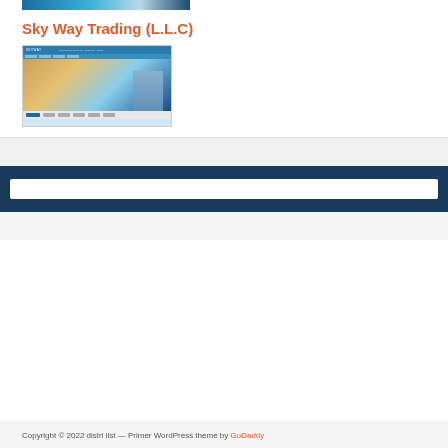[Figure (screenshot): Top banner image strip showing supply chain solutions website header with blue gradient]
Sky Way Trading (L.L.C)
[Figure (screenshot): Screenshot of Sky Way Trading website showing a tall glass building in Dubai skyline with blue sky background, website navigation and footer buttons visible]
Copyright © 2022 distri list — Primer WordPress theme by GoDaddy